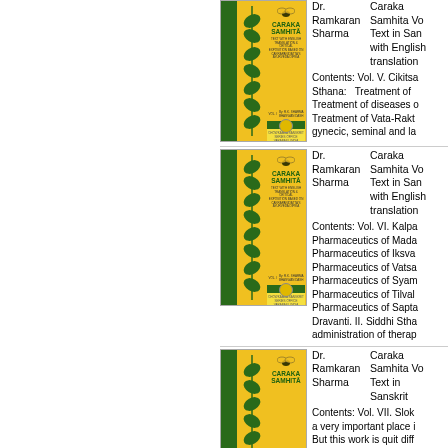[Figure (photo): Book cover of Caraka Samhita Vol. I, yellow cover with green spine and leaf vine illustration]
Dr. Ramkaran Sharma  Caraka Samhita Vol... Text in Sanskrit with English translation
Contents: Vol. V. Cikitsa Sthana: Treatment of ... Treatment of diseases ... Treatment of Vata-Rakta... gynecic, seminal and la...
[Figure (photo): Book cover of Caraka Samhita Vol. I, yellow cover with green spine and leaf vine illustration]
Dr. Ramkaran Sharma  Caraka Samhita Vo... Text in Sanskrit with English translation
Contents: Vol. VI. Kalpa... Pharmaceutics of Mada... Pharmaceutics of Iksva... Pharmaceutics of Vatsa... Pharmaceutics of Syam... Pharmaceutics of Tilval... Pharmaceutics of Sapta... Dravanti. II. Siddhi Stha... administration of therap...
[Figure (photo): Book cover of Caraka Samhita, yellow cover with green spine and leaf vine illustration]
Dr. Ramkaran Sharma  Caraka Samhita Vo... Text in Sanskrit
Contents: Vol. VII. Slok... a very important place i... But this work is quit diff... well accustomed with...